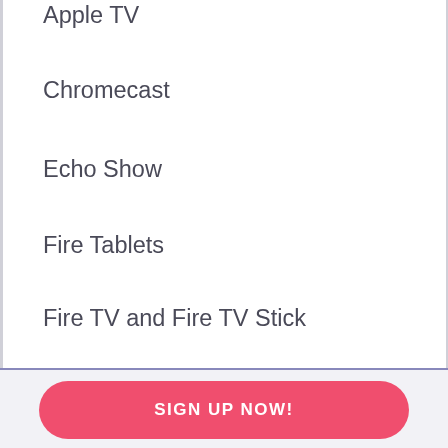Apple TV
Chromecast
Echo Show
Fire Tablets
Fire TV and Fire TV Stick
iPhones and iPads
LG TV
SIGN UP NOW!